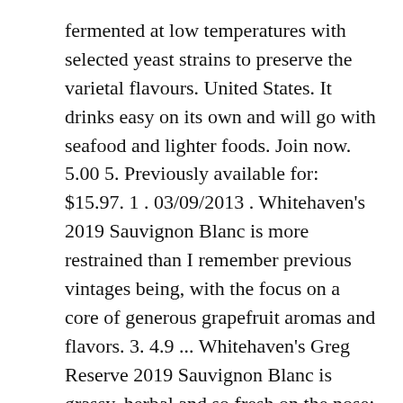fermented at low temperatures with selected yeast strains to preserve the varietal flavours. United States. It drinks easy on its own and will go with seafood and lighter foods. Join now. 5.00 5. Previously available for: $15.97. 1 . 03/09/2013 . Whitehaven's 2019 Sauvignon Blanc is more restrained than I remember previous vintages being, with the focus on a core of generous grapefruit aromas and flavors. 3. 4.9 ... Whitehaven's Greg Reserve 2019 Sauvignon Blanc is grassy, herbal and so fresh on the nose; dry, medium-bodied and mouth-watering with tropical fruit, orchard fruit, fine herb and grassy notes on the palate. 124929379. ★★★★★ ★★★★★. It's free. + 0 . A veteran writer and journalist, he also operates Null